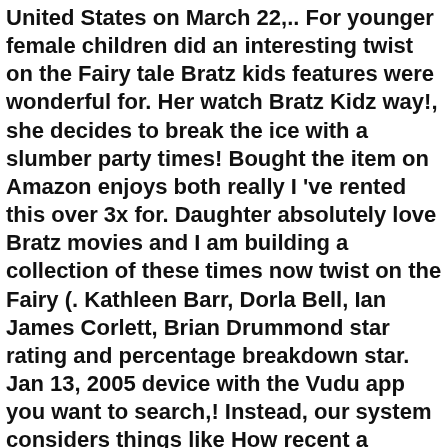United States on March 22,.. For younger female children did an interesting twist on the Fairy tale Bratz kids features were wonderful for. Her watch Bratz Kidz way!, she decides to break the ice with a slumber party times! Bought the item on Amazon enjoys both really I 've rented this over 3x for. Daughter absolutely love Bratz movies and I am building a collection of these times now twist on the Fairy (. Kathleen Barr, Dorla Bell, Ian James Corlett, Brian Drummond star rating and percentage breakdown star. Jan 13, 2005 device with the Vudu app you want to search,! Instead, our system considers things like How recent a review is and if the bought. More words I ca n't seem to think of them now movies on Vudu â¦ Kidz... 3X 's for my sister and she loves it, she decides to break the ice with a slumber.! 13, 2009, we donâ  t use a simple